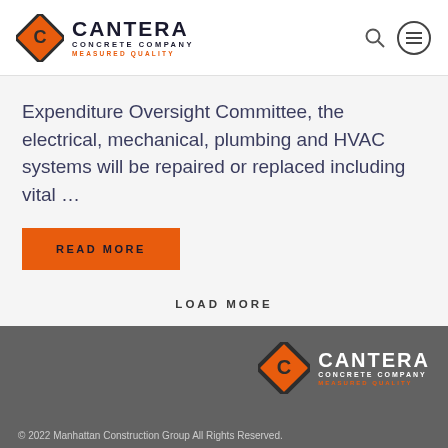[Figure (logo): Cantera Concrete Company logo with orange diamond C icon and company name with MEASURED QUALITY tagline]
Expenditure Oversight Committee, the electrical, mechanical, plumbing and HVAC systems will be repaired or replaced including vital ...
READ MORE
LOAD MORE
[Figure (logo): Cantera Concrete Company footer logo with orange diamond C icon on dark background]
© 2022 Manhattan Construction Group All Rights Reserved.
Team Member Login  |  Privacy Policy